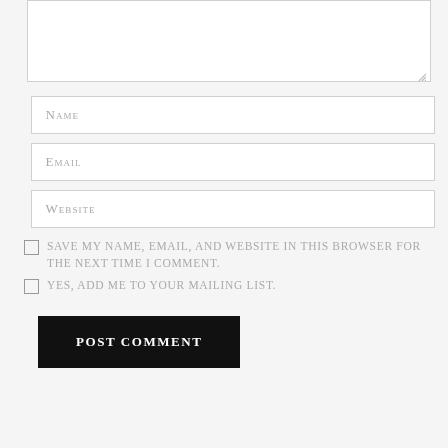[Figure (screenshot): Comment form textarea (large empty text input box)]
Name
Email
Website
Save my name, email, and website in this browser for the next time I comment.
Yes, add me to your mailing list.
POST COMMENT